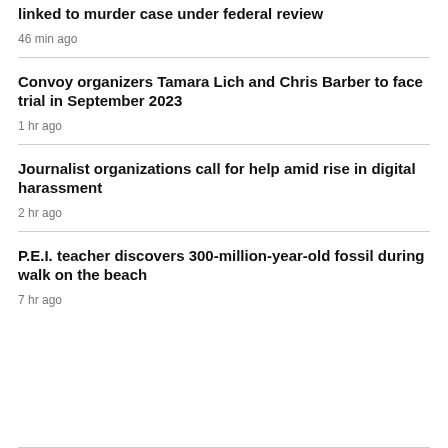linked to murder case under federal review
46 min ago
Convoy organizers Tamara Lich and Chris Barber to face trial in September 2023
1 hr ago
Journalist organizations call for help amid rise in digital harassment
2 hr ago
P.E.I. teacher discovers 300-million-year-old fossil during walk on the beach
7 hr ago